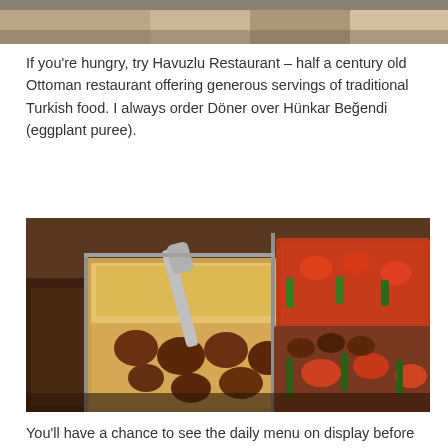[Figure (photo): Top portion of a restaurant or food scene photo, cropped at the top of the page]
If you're hungry, try Havuzlu Restaurant – half a century old Ottoman restaurant offering generous servings of traditional Turkish food. I always order Döner over Hünkar Beğendi (eggplant puree).
[Figure (photo): Close-up photo of various Turkish dishes in metal trays at a buffet display, showing meatballs with cheese, stuffed vegetables in tomato sauce, grilled meats and vegetables]
You'll have a chance to see the daily menu on display before